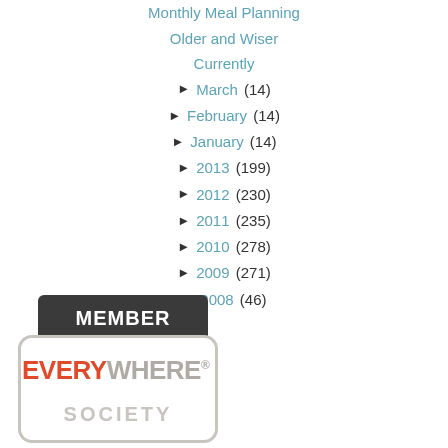Monthly Meal Planning
Older and Wiser
Currently
► March (14)
► February (14)
► January (14)
► 2013 (199)
► 2012 (230)
► 2011 (235)
► 2010 (278)
► 2009 (271)
► 2008 (46)
[Figure (logo): Member Everywhere Society badge/logo with dark speech bubble containing 'MEMBER' text and rounded rectangle with 'EVERYWHERE SOCIETY' text]